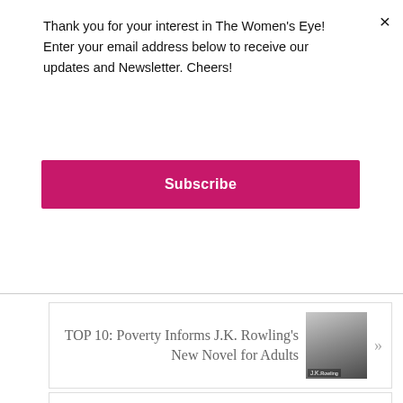Thank you for your interest in The Women's Eye! Enter your email address below to receive our updates and Newsletter. Cheers!
×
Subscribe
TOP 10: Poverty Informs J.K. Rowling's New Novel for Adults »
[Figure (photo): Photo of J.K. Rowling standing in front of a backdrop with her name]
Leave a Reply
Your email address will not be published. Required fields are